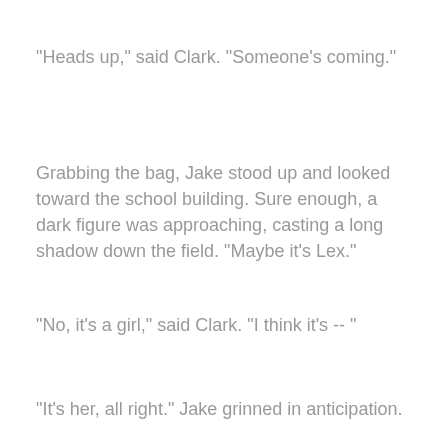"Heads up," said Clark. "Someone's coming."
Grabbing the bag, Jake stood up and looked toward the school building. Sure enough, a dark figure was approaching, casting a long shadow down the field. "Maybe it's Lex."
"No, it's a girl," said Clark. "I think it's -- "
"It's her, all right." Jake grinned in anticipation.